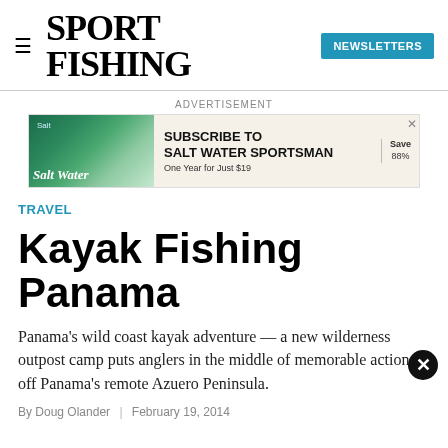SPORT FISHING | NEWSLETTERS
ADVERTISEMENT
[Figure (infographic): Advertisement banner for Salt Water Sportsman subscription: Subscribe to Salt Water Sportsman, One Year for Just $19, Save 88%]
TRAVEL
Kayak Fishing Panama
Panama's wild coast kayak adventure — a new wilderness outpost camp puts anglers in the middle of memorable action off Panama's remote Azuero Peninsula.
By Doug Olander | February 19, 2014